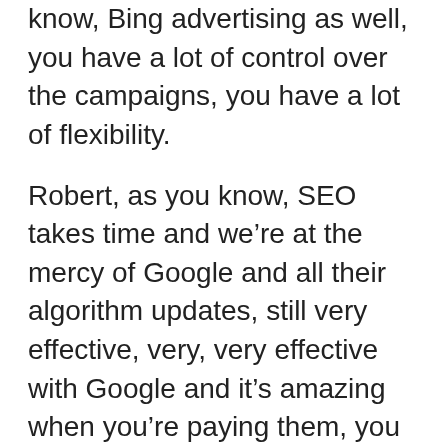know, Bing advertising as well, you have a lot of control over the campaigns, you have a lot of flexibility.
Robert, as you know, SEO takes time and we're at the mercy of Google and all their algorithm updates, still very effective, very, very effective with Google and it's amazing when you're paying them, you have a lot more flexibility and the traffic is immediate and you can set up campaigns. Like, let's say you wanted to focus on just homes for sale in Los Angeles but you have a campaign for homes for sale in San Diego, you could turn off and on the